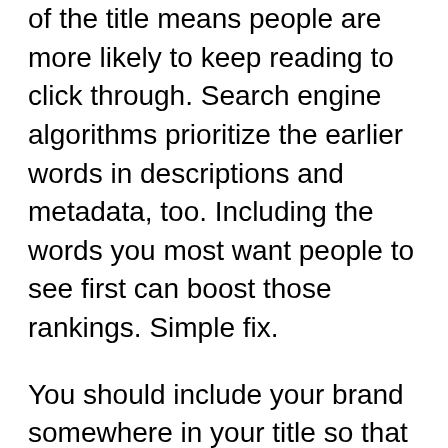of the title means people are more likely to keep reading to click through. Search engine algorithms prioritize the earlier words in descriptions and metadata, too. Including the words you most want people to see first can boost those rankings. Simple fix.
You should include your brand somewhere in your title so that searchers will recognize you in later searches. Titles are supposed to get people to click through and keep reading, so spend the time necessary to develop good ones, and your SEO efforts will pay off.
The WordPress SEO plugin by Yoast makes it